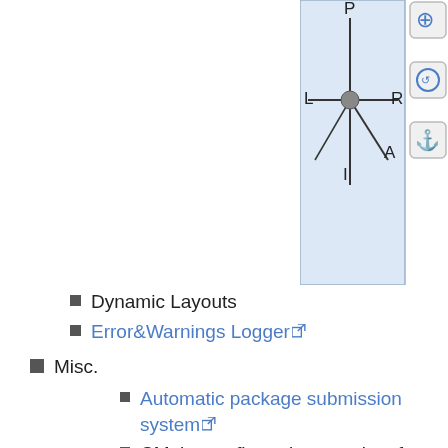[Figure (schematic): Coordinate orientation diagram showing a crosshair with labeled directions P (top), L (left), R (right), I (bottom-left), A (bottom-right), with a grey circle at center. Three icon buttons are shown to the right of the diagram.]
Dynamic Layouts
Error&Warnings Logger
Misc.
Automatic package submission system
CMake configuration template for building extensions
Mac Bundle
Python testing
What is missing?
Speed improvement